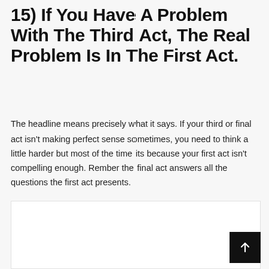15) If You Have A Problem With The Third Act, The Real Problem Is In The First Act.
The headline means precisely what it says. If your third or final act isn't making perfect sense sometimes, you need to think a little harder but most of the time its because your first act isn't compelling enough. Rember the final act answers all the questions the first act presents.